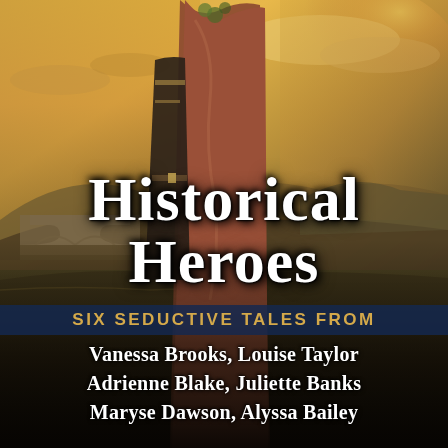[Figure (illustration): Book cover image showing a historical couple embracing, a man in military uniform and a woman in period dress, with a stone bridge and dramatic golden sky landscape in the background.]
Historical Heroes
SIX SEDUCTIVE TALES FROM
Vanessa Brooks, Louise Taylor
Adrienne Blake, Juliette Banks
Maryse Dawson, Alyssa Bailey